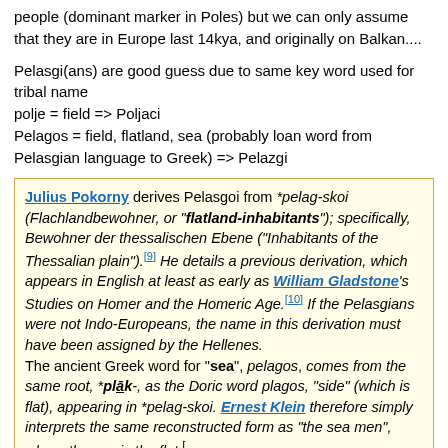people (dominant marker in Poles) but we can only assume that they are in Europe last 14kya, and originally on Balkan....
Pelasgi(ans) are good guess due to same key word used for tribal name
polje = field => Poljaci
Pelagos = field, flatland, sea (probably loan word from Pelasgian language to Greek) => Pelazgi
Julius Pokorny derives Pelasgoi from *pelag-skoi (Flachlandbewohner, or "flatland-inhabitants"); specifically, Bewohner der thessalischen Ebene ("Inhabitants of the Thessalian plain").[9] He details a previous derivation, which appears in English at least as early as William Gladstone's Studies on Homer and the Homeric Age.[10] If the Pelasgians were not Indo-Europeans, the name in this derivation must have been assigned by the Hellenes. The ancient Greek word for "sea", pelagos, comes from the same root, *plak-, as the Doric word plagos, "side" (which is flat), appearing in *pelag-skoi. Ernest Klein therefore simply interprets the same reconstructed form as "the sea men", where the sea is the flat.[